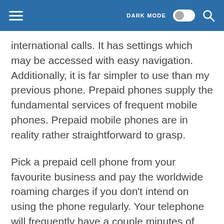DARK MODE
international calls. It has settings which may be accessed with easy navigation. Additionally, it is far simpler to use than my previous phone. Prepaid phones supply the fundamental services of frequent mobile phones. Prepaid mobile phones are in reality rather straightforward to grasp.
Pick a prepaid cell phone from your favourite business and pay the worldwide roaming charges if you don't intend on using the phone regularly. Your telephone will frequently have a couple minutes of telephone calling credit to be sure that you might make an incoming phone call. You'll receive a wonderful phone which suits your